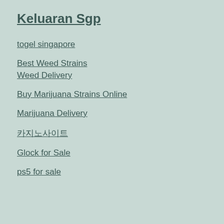Keluaran Sgp
togel singapore
Best Weed Strains
Weed Delivery
Buy Marijuana Strains Online
Marijuana Delivery
카지노사이트
Glock for Sale
ps5 for sale